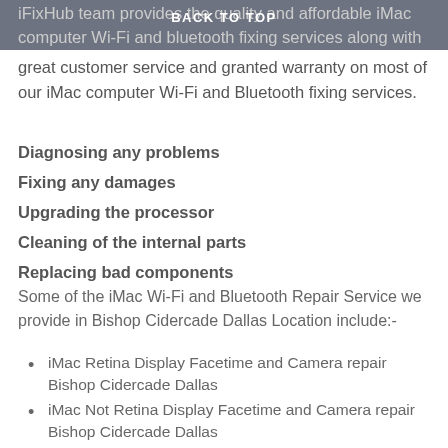BACK TO TOP
iFixHub team provides the quality and affordable iMac computer Wi-Fi and bluetooth fixing services along with great customer service and granted warranty on most of our iMac computer Wi-Fi and Bluetooth fixing services.
Diagnosing any problems
Fixing any damages
Upgrading the processor
Cleaning of the internal parts
Replacing bad components
Some of the iMac Wi-Fi and Bluetooth Repair Service we provide in Bishop Cidercade Dallas Location include:-
iMac Retina Display Facetime and Camera repair Bishop Cidercade Dallas
iMac Not Retina Display Facetime and Camera repair Bishop Cidercade Dallas
iMac 21 inch Facetime and Camera repair Bishop